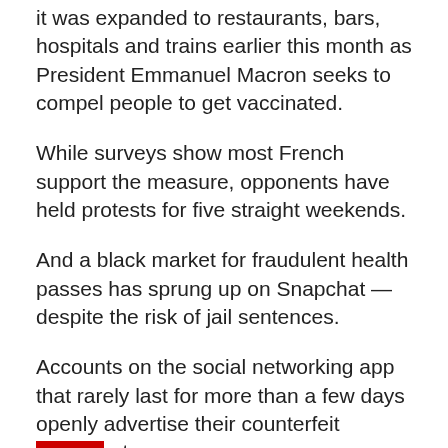it was expanded to restaurants, bars, hospitals and trains earlier this month as President Emmanuel Macron seeks to compel people to get vaccinated.
While surveys show most French support the measure, opponents have held protests for five straight weekends.
And a black market for fraudulent health passes has sprung up on Snapchat — despite the risk of jail sentences.
Accounts on the social networking app that rarely last for more than a few days openly advertise their counterfeit documents.
Some ads say: “Your health pass by email in eight to 10 hours maximum”, “Vaccination is optional thanks to our service” or “Say no to the vaccine and get a health pass without getting vaccinated”.